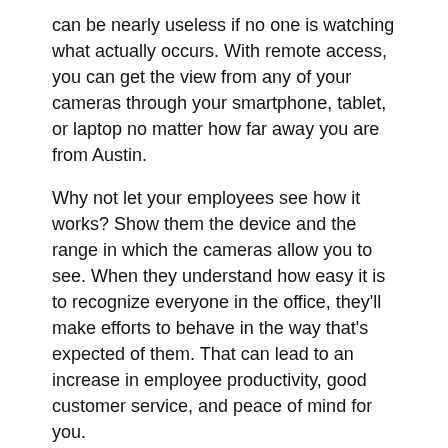can be nearly useless if no one is watching what actually occurs. With remote access, you can get the view from any of your cameras through your smartphone, tablet, or laptop no matter how far away you are from Austin.
Why not let your employees see how it works? Show them the device and the range in which the cameras allow you to see. When they understand how easy it is to recognize everyone in the office, they'll make efforts to behave in the way that's expected of them. That can lead to an increase in employee productivity, good customer service, and peace of mind for you.
Protect The Business
Remote monitoring also protects your business 24/7. Combine it with a motion alert camera system and you'll be alerted to any action that occurs when your business owners have left.